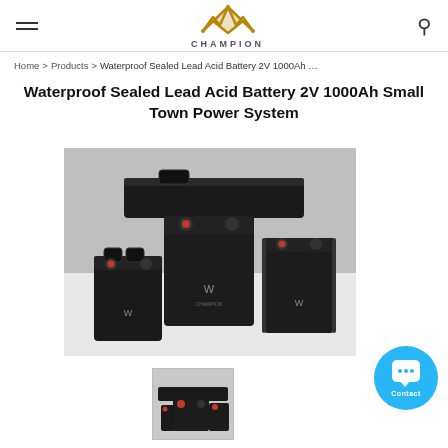Champion — Hamburger menu, logo, search icon
Home > Products > Waterproof Sealed Lead Acid Battery 2V 1000Ah …
Waterproof Sealed Lead Acid Battery 2V 1000Ah Small Town Power System
[Figure (photo): Three Champion-branded sealed lead acid batteries of different sizes arranged on a white surface, all matte black with red terminal caps and the Champion crown logo on front.]
[Figure (photo): Thumbnail of the same Champion sealed lead acid batteries, smaller preview image.]